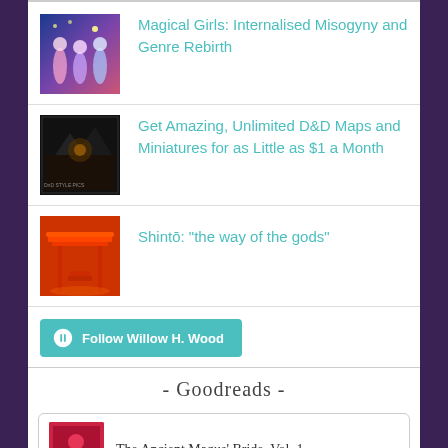Magical Girls: Internalised Misogyny and Genre Rebirth
Get Amazing, Unlimited D&D Maps and Miniatures for as Little as $1 a Month
Shintō: "the way of the gods"
Follow Willow H. Wood
- Goodreads -
The Ancient Magus' Bride, Vol. 1